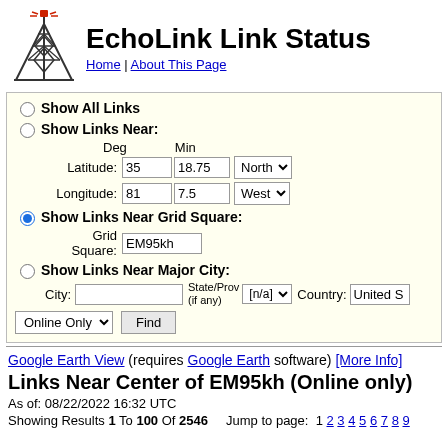EchoLink Link Status
Home | About This Page
Show All Links
Show Links Near:
Deg  Min
Latitude: 35  18.75  North
Longitude: 81  7.5  West
Show Links Near Grid Square:
Grid Square: EM95kh
Show Links Near Major City:
City:  State/Prov (if any): [n/a]  Country: United S
Google Earth View (requires Google Earth software) [More Info]
Links Near Center of EM95kh (Online only)
As of: 08/22/2022 16:32 UTC
Showing Results 1 To 100 Of 2546   Jump to page: 1 2 3 4 5 6 7 8 9